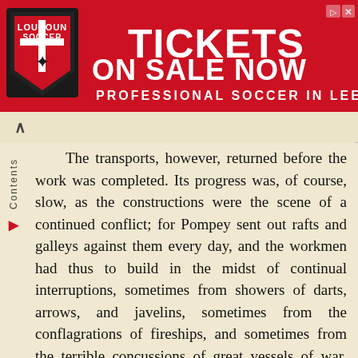[Figure (other): Advertisement banner for Loudoun Soccer: red background with team shield logo, text 'TICKETS ON SALE NOW' and 'PROFESSIONAL SOCCER IN LEESBURG']
The transports, however, returned before the work was completed. Its progress was, of course, slow, as the constructions were the scene of a continued conflict; for Pompey sent out rafts and galleys against them every day, and the workmen had thus to build in the midst of continual interruptions, sometimes from showers of darts, arrows, and javelins, sometimes from the conflagrations of fireships, and sometimes from the terrible concussions of great vessels of war, impelled with prodigious force against them. The transports returned, therefore, before the defenses were complete, and contrived to get into the harbor. Pompey immediately formed his plan for embarking the remainder of his army.
He filled the streets of the city with barricades